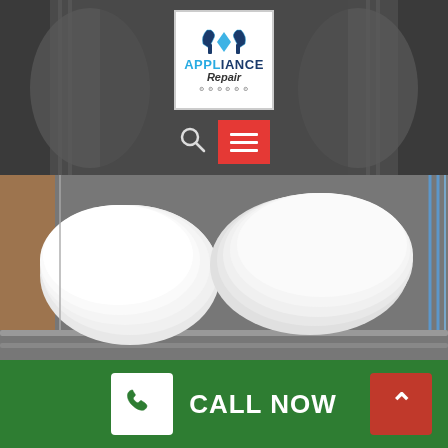[Figure (photo): Website header with dishwasher interior background, Appliance Repair logo in center, search icon and red hamburger menu button below logo, and close-up photo of white dishes in a dishwasher rack]
Dishwasher Repair Options In Darling
We service all dishwashing machine brand names,
[Figure (other): Green bottom bar with white phone icon box, CALL NOW text in white, and red back-to-top arrow button on the right]